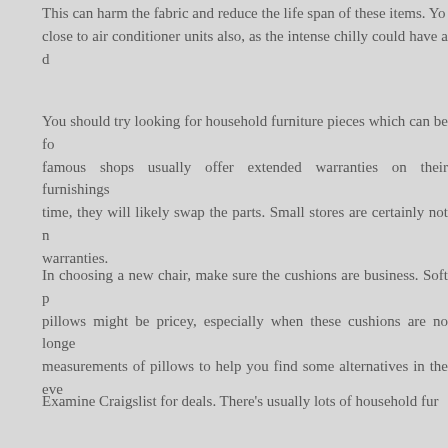This can harm the fabric and reduce the life span of these items. You should not place furniture close to air conditioner units also, as the intense chilly could have a d...
You should try looking for household furniture pieces which can be fo... famous shops usually offer extended warranties on their furnishings... time, they will likely swap the parts. Small stores are certainly not r... warranties.
In choosing a new chair, make sure the cushions are business. Soft p... pillows might be pricey, especially when these cushions are no longe... measurements of pillows to help you find some alternatives in the eve...
Examine Craigslist for deals. There's usually lots of household fur... nothing, other than your expense to get it! That's a huge package. They've chosen to upgrade, also it can cost lots of money to use so... Take advantage of these scenarios.
You have to acquire furniture that may go properly with all of your... have an up-to-date property, it is really not quite wise to antique hous... you do not would like your house to look tacky, you should acquire thi...
Really know what the return guarantee and warranty are for almos...